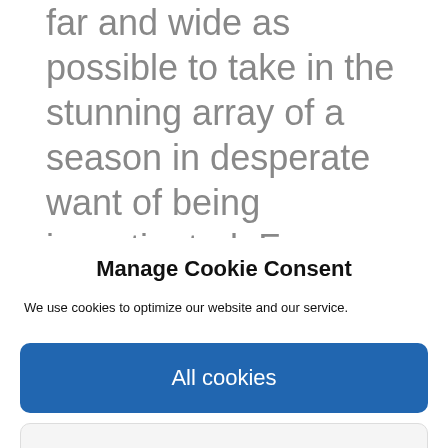far and wide as possible to take in the stunning array of a season in desperate want of being investigated. From the Wicklow Mountains to the Aran Islands, from the Sligo Coast to the Glens of Antrim, autumn whisks up a cool wind and brings you through a poetic landscape of rich hues. With the exception of the classic Killarney and
Manage Cookie Consent
We use cookies to optimize our website and our service.
All cookies
Deny